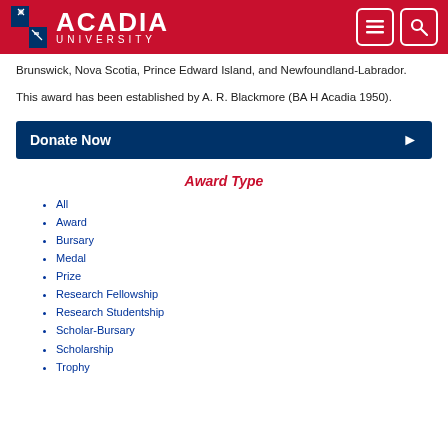Acadia University
Brunswick, Nova Scotia, Prince Edward Island, and Newfoundland-Labrador.
This award has been established by A. R. Blackmore (BA H Acadia 1950).
Donate Now
Award Type
All
Award
Bursary
Medal
Prize
Research Fellowship
Research Studentship
Scholar-Bursary
Scholarship
Trophy